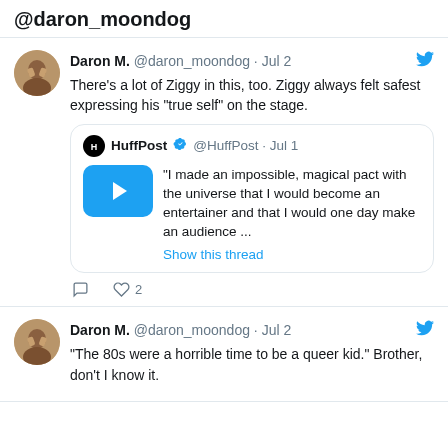@daron_moondog
Daron M. @daron_moondog · Jul 2
There's a lot of Ziggy in this, too. Ziggy always felt safest expressing his "true self" on the stage.
HuffPost @HuffPost · Jul 1
"I made an impossible, magical pact with the universe that I would become an entertainer and that I would one day make an audience ...
Show this thread
Daron M. @daron_moondog · Jul 2
"The 80s were a horrible time to be a queer kid." Brother, don't I know it.